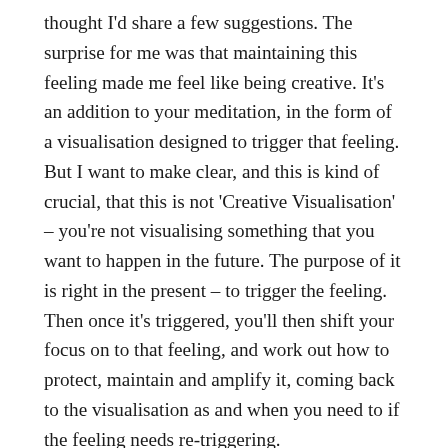thought I'd share a few suggestions. The surprise for me was that maintaining this feeling made me feel like being creative. It's an addition to your meditation, in the form of a visualisation designed to trigger that feeling. But I want to make clear, and this is kind of crucial, that this is not 'Creative Visualisation' – you're not visualising something that you want to happen in the future. The purpose of it is right in the present – to trigger the feeling. Then once it's triggered, you'll then shift your focus on to that feeling, and work out how to protect, maintain and amplify it, coming back to the visualisation as and when you need to if the feeling needs re-triggering.
There's lots of things you could visualise. A good tip is to apply the Buddhist principle of non-duality – dissolving barriers between self and other, so you can resonate with the feeling of successes embodied in all